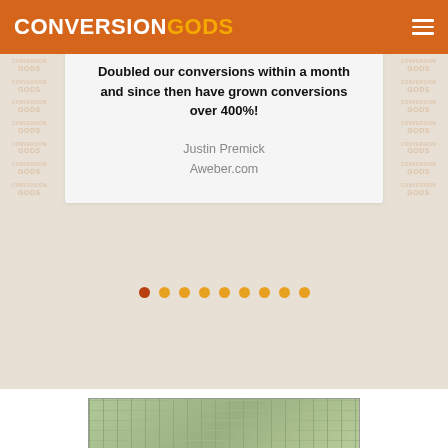CONVERSION GODS
Doubled our conversions within a month and since then have grown conversions over 400%!
Justin Premick
Aweber.com
The Blog
[Figure (photo): Partial image of money/cash bills at bottom of page]